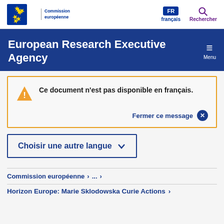[Figure (logo): European Commission logo with stars and text 'Commission européenne']
FR français
Rechercher
European Research Executive Agency
Menu
Ce document n'est pas disponible en français.
Fermer ce message ×
Choisir une autre langue ∨
Commission européenne > ... >
Horizon Europe: Marie Sklodowska Curie Actions >